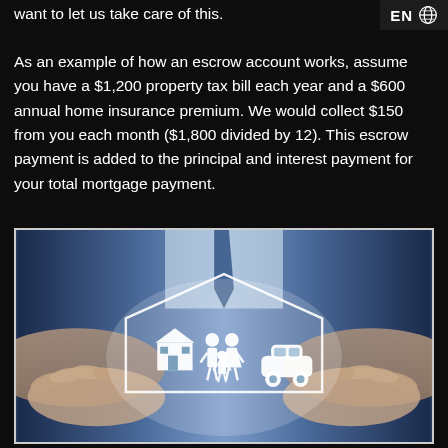want to let us take care of this.
EN 🌐
As an example of how an escrow account works, assume you have a $1,200 property tax bill each year and a $600 annual home insurance premium. We would collect $150 from you each month ($1,800 divided by 12). This escrow payment is added to the principal and interest payment for your total mortgage payment.
[Figure (photo): A person in a suit holding their hands open/cupped, with a white line-art graphic overlay showing a house icon, a family (man, woman, child) icon, and a car icon inside a pentagon/house shaped outline — representing home, life, and auto insurance protection.]